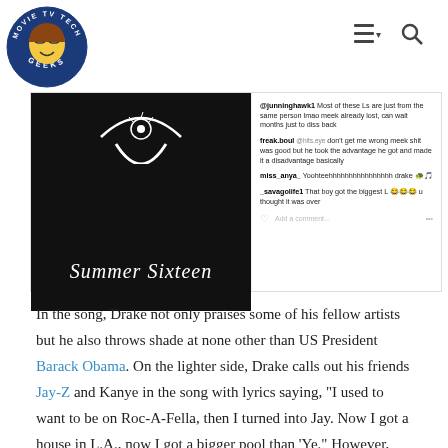Movie TV Tech Geeks (logo) — navigation icons
[Figure (screenshot): Album cover showing 'Summer Sixteen' text in handwritten style on black background with eye illustration, alongside Instagram comments panel showing user reactions]
In the song, Drake not only praises some of his fellow artists but he also throws shade at none other than US President Barack Obama. On the lighter side, Drake calls out his friends Jay-Z and Kanye in the song with lyrics saying, “I used to want to be on Roc-A-Fella, then I turned into Jay. Now I got a house in L.A., now I got a bigger pool than ‘Ye.” However, things get a little bit bitter when the Canadian rapper calls out Obama, who recently revealed that he is more of a fan of Kendrick Lamar than Drake. Evidently this didn’t sit well with Drake as he raps,